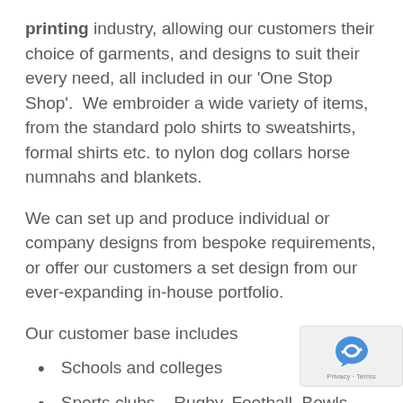printing industry, allowing our customers their choice of garments, and designs to suit their every need, all included in our 'One Stop Shop'. We embroider a wide variety of items, from the standard polo shirts to sweatshirts, formal shirts etc. to nylon dog collars horse numnahs and blankets.
We can set up and produce individual or company designs from bespoke requirements, or offer our customers a set design from our ever-expanding in-house portfolio.
Our customer base includes
Schools and colleges
Sports clubs – Rugby, Football, Bowls, Darts etc.
Business, Private and Corporate
Associations and Charities etc. and